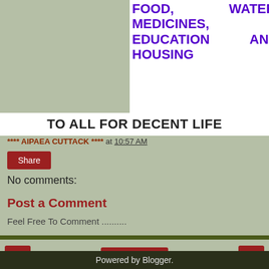[Figure (screenshot): Blog post header image showing purple bold text on white background: 'FOOD, WATER, MEDICINES, EDUCATION AND HOUSING' over a sage green background on left, with a white banner below reading 'TO ALL FOR DECENT LIFE']
**** AIPAEA CUTTACK **** at 10:57 AM
Share
No comments:
Post a Comment
Feel Free To Comment ..........
Powered by Blogger.